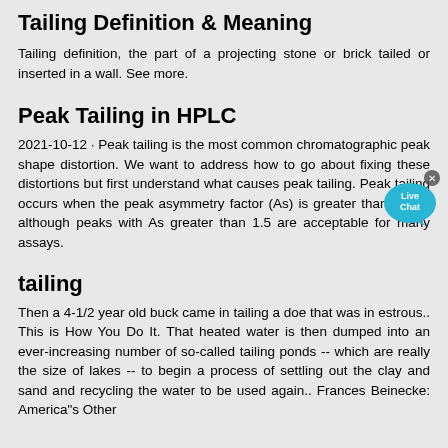Tailing Definition & Meaning
Tailing definition, the part of a projecting stone or brick tailed or inserted in a wall. See more.
Peak Tailing in HPLC
2021-10-12 · Peak tailing is the most common chromatographic peak shape distortion. We want to address how to go about fixing these distortions but first understand what causes peak tailing. Peak tailing occurs when the peak asymmetry factor (As) is greater than 1.2 — although peaks with As greater than 1.5 are acceptable for many assays.
tailing
Then a 4-1/2 year old buck came in tailing a doe that was in estrous.. This is How You Do It. That heated water is then dumped into an ever-increasing number of so-called tailing ponds -- which are really the size of lakes -- to begin a process of settling out the clay and sand and recycling the water to be used again.. Frances Beinecke: America"s Other